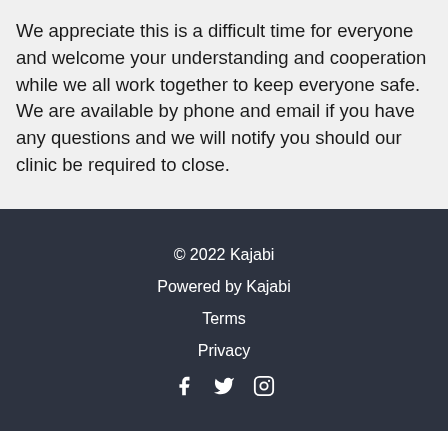We appreciate this is a difficult time for everyone and welcome your understanding and cooperation while we all work together to keep everyone safe. We are available by phone and email if you have any questions and we will notify you should our clinic be required to close.
© 2022 Kajabi
Powered by Kajabi
Terms
Privacy